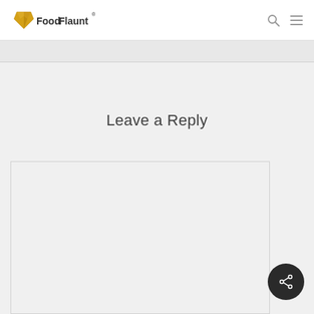Food Flaunt
Leave a Reply
[Figure (screenshot): Comment text area input box, empty, with light border on gray background]
[Figure (other): Dark circular share button with share icon in bottom right corner]